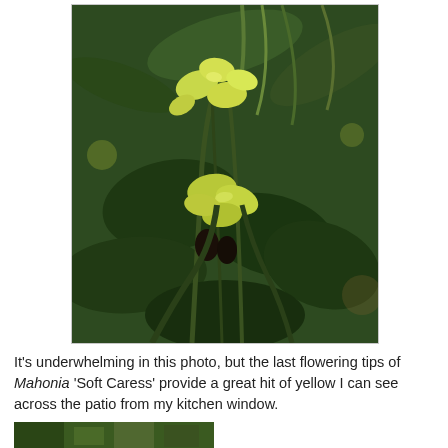[Figure (photo): Close-up photograph of Mahonia 'Soft Caress' plant showing yellow-green flowering tips and dark green leaves against a garden background]
It's underwhelming in this photo, but the last flowering tips of Mahonia 'Soft Caress' provide a great hit of yellow I can see across the patio from my kitchen window.
[Figure (photo): Partial view of another garden photograph, cropped at bottom of page]